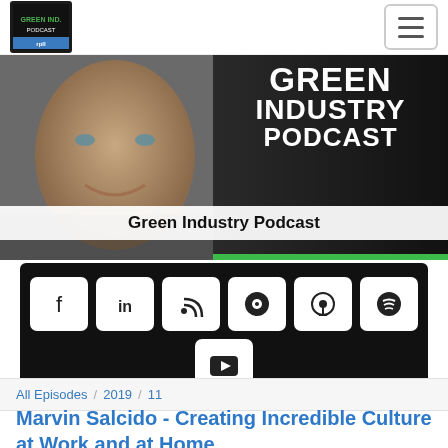[Figure (logo): Green Industry Podcast logo in top-left nav bar]
[Figure (photo): Hero banner showing a bald smiling man with text GREEN INDUSTRY PODCAST overlaid, with Green Industry Podcast label bar]
[Figure (infographic): Black box with social media icon buttons: Facebook, LinkedIn, RSS, podcast app, Apple Podcasts, Spotify, and YouTube]
All Episodes / 2019 / 11
Marvin Salcido - Creating Incredible Culture at Work and at Home
[Figure (other): Podcast thumbnail with play button]
GREEN INDUSTRY PODCAST
Marvin Salcido - Creating Incredible Cult...